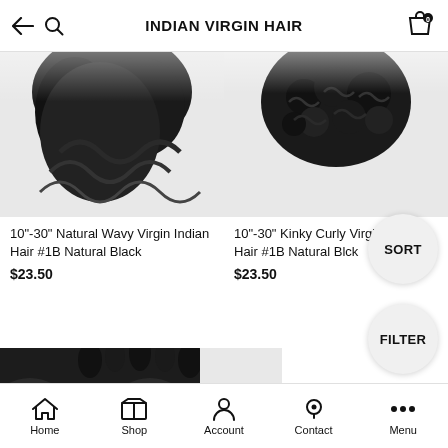INDIAN VIRGIN HAIR
[Figure (photo): Close-up of natural wavy virgin Indian hair bundle, black color, top portion visible]
10"-30" Natural Wavy Virgin Indian Hair #1B Natural Black
$23.50
[Figure (photo): Close-up of kinky curly virgin Indian hair bundle, black color, top portion visible]
10"-30" Kinky Curly Virgin Indian Hair #1B Natural Black
$23.50
[Figure (photo): Deep wave virgin hair bundles, black, shown at bottom-left of the page, partially cropped]
Home  Shop  Account  Contact  Menu